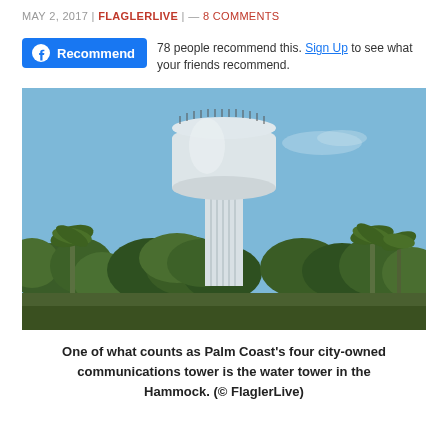MAY 2, 2017 | FLAGLERLIVE | — 8 COMMENTS
78 people recommend this. Sign Up to see what your friends recommend.
[Figure (photo): A tall white water tower rising above a canopy of palm trees and oak trees against a blue sky.]
One of what counts as Palm Coast's four city-owned communications tower is the water tower in the Hammock. (© FlaglerLive)